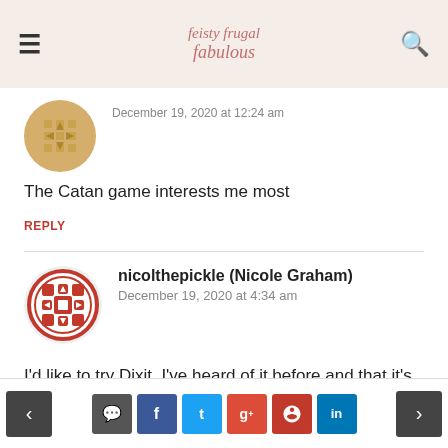feisty frugal fabulous
[Figure (logo): Gold decorative tile avatar for first commenter]
December 19, 2020 at 12:24 am
The Catan game interests me most
REPLY
[Figure (logo): Red and white decorative tile avatar for nicolthepickle]
nicolthepickle (Nicole Graham)
December 19, 2020 at 4:34 am
I'd like to try Dixit. I've heard of it before and that it's a fun game.
REPLY
< comment facebook twitter google+ pinterest linkedin >